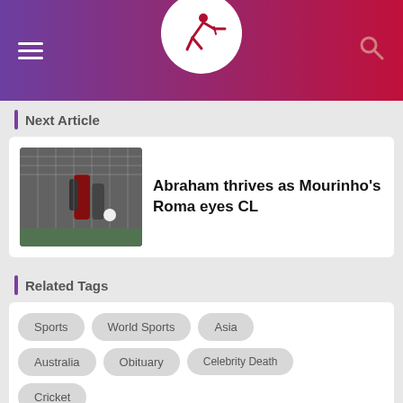[Figure (logo): Sports news app header with hamburger menu, circular logo with running figure icon, and search icon. Gradient background from purple to dark red.]
Next Article
[Figure (photo): Soccer/football match action photo showing players near a goal net]
Abraham thrives as Mourinho's Roma eyes CL
Related Tags
Sports
World Sports
Asia
Australia
Obituary
Celebrity Death
Cricket